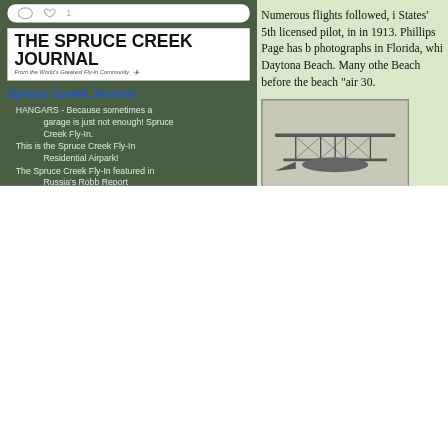[Figure (screenshot): Social media UI bar with comment and like icons, showing 1 like]
[Figure (logo): The Spruce Creek Journal logo - From the World's Greatest Fly-in Community]
Spruce Creek Journal
HANGARS - Because sometimes a garage is just not enough! Spruce Creek Fly-In.
This is the Spruce Creek Fly-In Residential Airpark!
The Spruce Creek Fly-In featured in Russia's Robb Report
The Goodyear Blimp came to visit Spruce Creek Again!
Spruce Creek Fly-In Toy Parade 2016
[Figure (photo): Advertisement banner for Real Estate Blog with house icon logo on left and globe/space background on right]
How A Bill Becomes Law - Short Explanation
140 Years of Monetary History in 10 Minutes...
Housing Market Bouncing Back?
Numerous flights followed, i States' 5th licensed pilot, in in 1913. Phillips Page has b photographs in Florida, whi Daytona Beach. Many othe Beach before the beach "air 30.
[Figure (photo): Historical black and white photograph of an early biplane with caption reading 'Aviator J.A.D. Mc... Daytona Beach']
All flights were moved to the Halifax River. Eastern Air Tr of Daytona Beach. The airl...